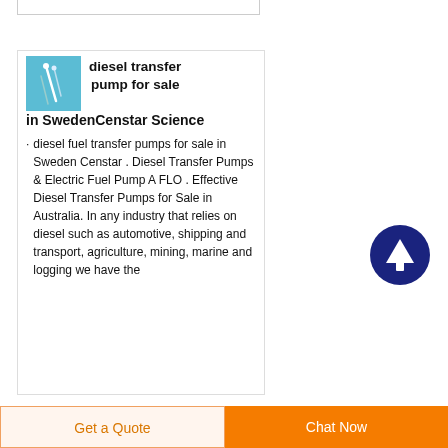[Figure (screenshot): Top partial card/bar element at very top of page]
diesel transfer pump for sale in SwedenCenstar Science
diesel fuel transfer pumps for sale in Sweden Censtar . Diesel Transfer Pumps & Electric Fuel Pump A FLO . Effective Diesel Transfer Pumps for Sale in Australia. In any industry that relies on diesel such as automotive, shipping and transport, agriculture, mining, marine and logging we have the
[Figure (illustration): Dark blue circular button with white upward arrow icon]
Get a Quote
Chat Now